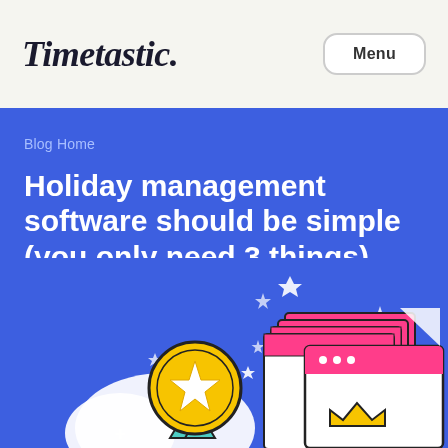Timetastic.
Menu
Blog Home
Holiday management software should be simple (you only need 3 things)
[Figure (illustration): Illustration of a gold star medal/award badge with teal ribbon on the left, and a stack of pink/magenta browser windows with a yellow crown at the bottom right, on a blue background. White diamond sparkles scattered around.]